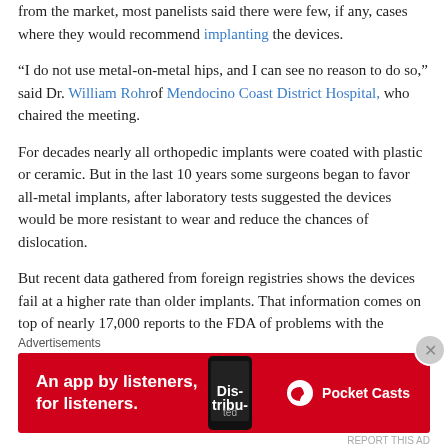from the market, most panelists said there were few, if any, cases where they would recommend implanting the devices.
“I do not use metal-on-metal hips, and I can see no reason to do so,” said Dr. William Rohr of Mendocino Coast District Hospital, who chaired the meeting.
For decades nearly all orthopedic implants were coated with plastic or ceramic. But in the last 10 years some surgeons began to favor all-metal implants, after laboratory tests suggested the devices would be more resistant to wear and reduce the chances of dislocation.
But recent data gathered from foreign registries shows the devices fail at a higher rate than older implants. That information comes on top of nearly 17,000 reports to the FDA of problems with the implants, which sometimes require invasive surgery to replace them.
The pain and inflammation reported by patients is usually caused by tiny metal particles that seep into the joint, damaging the surrounding tissue and bone. The long-term effects of elevated metal levels in the bloodstream are not clear, though some studies have suggested links to
[Figure (other): Red advertisement banner for Pocket Casts: 'An app by listeners, for listeners.' with phone image and Pocket Casts logo]
Advertisements